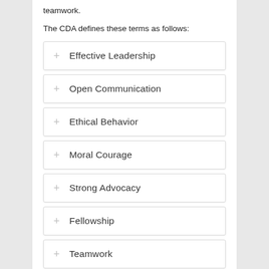teamwork.
The CDA defines these terms as follows:
Effective Leadership
Open Communication
Ethical Behavior
Moral Courage
Strong Advocacy
Fellowship
Teamwork